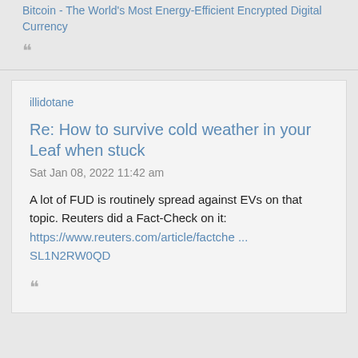Bitcoin - The World's Most Energy-Efficient Encrypted Digital Currency
““
illidotane
Re: How to survive cold weather in your Leaf when stuck
Sat Jan 08, 2022 11:42 am
A lot of FUD is routinely spread against EVs on that topic. Reuters did a Fact-Check on it: https://www.reuters.com/article/factche ... SL1N2RW0QD
““